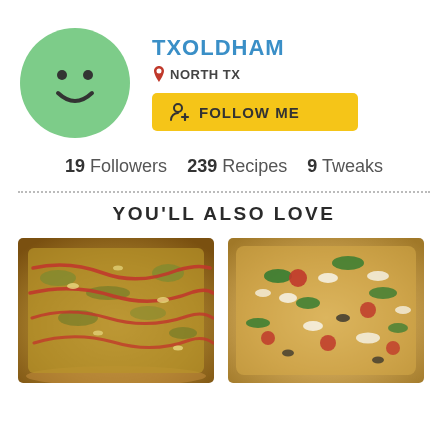[Figure (illustration): Green circle avatar with smiley face (two dots for eyes, curved line for smile)]
TXOLDHAM
NORTH TX
FOLLOW ME
19 Followers   239 Recipes   9 Tweaks
YOU'LL ALSO LOVE
[Figure (photo): Photo of a flat pizza with red sauce drizzled over herb and cheese toppings on golden crust]
[Figure (photo): Photo of a pizza with tomatoes, spinach, feta cheese crumbles and other toppings]